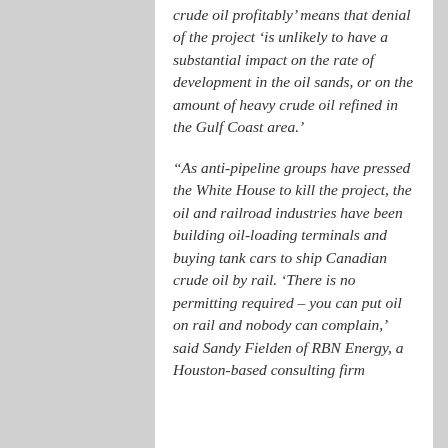crude oil profitably' means that denial of the project 'is unlikely to have a substantial impact on the rate of development in the oil sands, or on the amount of heavy crude oil refined in the Gulf Coast area.'
“As anti-pipeline groups have pressed the White House to kill the project, the oil and railroad industries have been building oil-loading terminals and buying tank cars to ship Canadian crude oil by rail. ‘There is no permitting required – you can put oil on rail and nobody can complain,’ said Sandy Fielden of RBN Energy, a Houston-based consulting firm